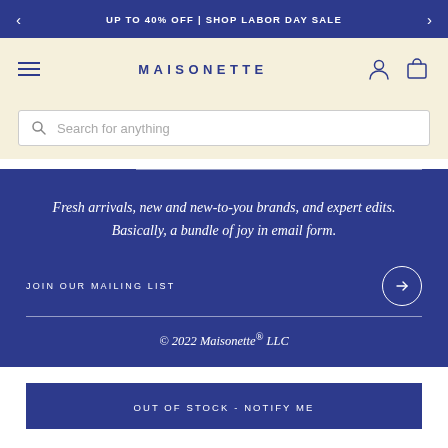UP TO 40% OFF | SHOP LABOR DAY SALE
[Figure (logo): Maisonette website header with hamburger menu, MAISONETTE logo, user icon, and cart icon on cream background]
[Figure (screenshot): Search bar with magnifying glass icon and placeholder text 'Search for anything']
Fresh arrivals, new and new-to-you brands, and expert edits. Basically, a bundle of joy in email form.
JOIN OUR MAILING LIST
© 2022 Maisonette® LLC
OUT OF STOCK - NOTIFY ME